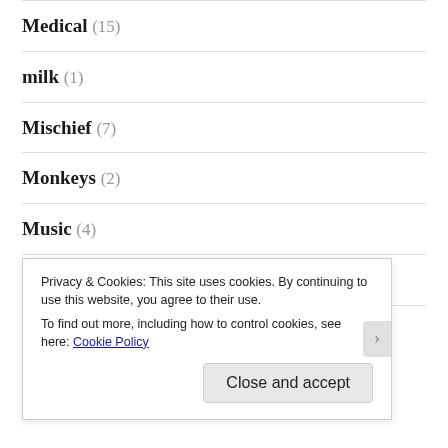Medical (15)
milk (1)
Mischief (7)
Monkeys (2)
Music (4)
Nail Clipping (2)
Napping (26)
Privacy & Cookies: This site uses cookies. By continuing to use this website, you agree to their use. To find out more, including how to control cookies, see here: Cookie Policy